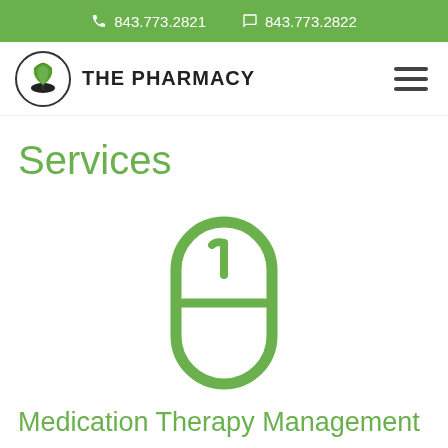843.773.2821  843.773.2822
[Figure (logo): The Pharmacy logo with tree icon and text THE PHARMACY]
Services
[Figure (illustration): Green outline pill/capsule icon]
Medication Therapy Management